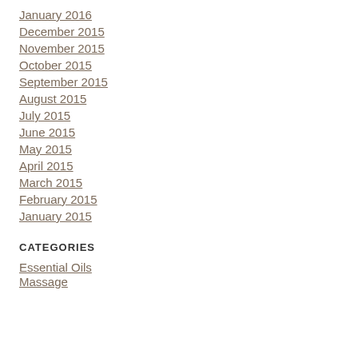January 2016
December 2015
November 2015
October 2015
September 2015
August 2015
July 2015
June 2015
May 2015
April 2015
March 2015
February 2015
January 2015
CATEGORIES
Essential Oils
Massage